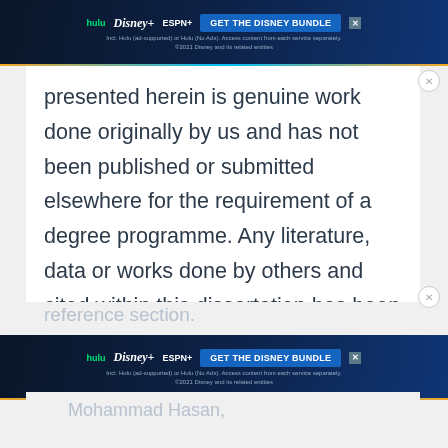[Figure (screenshot): Disney Bundle advertisement banner at top of page showing Hulu, Disney+, and ESPN+ logos with 'GET THE DISNEY BUNDLE' button on dark blue background]
presented herein is genuine work done originally by us and has not been published or submitted elsewhere for the requirement of a degree programme. Any literature, data or works done by others and cited within this dissertation has been given due acknowledgement and listed in the
reference section.
[Figure (screenshot): Disney Bundle advertisement banner in middle of page showing Hulu, Disney+, and ESPN+ logos with 'GET THE DISNEY BUNDLE' button on dark blue background]
Mohammad Hasan,